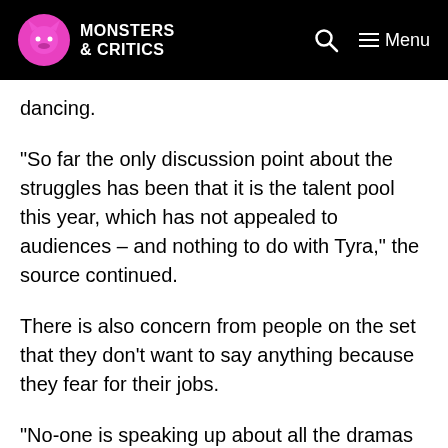Monsters & Critics
dancing.
“So far the only discussion point about the struggles has been that it is the talent pool this year, which has not appealed to audiences – and nothing to do with Tyra,” the source continued.
There is also concern from people on the set that they don’t want to say anything because they fear for their jobs.
“No-one is speaking up about all the dramas on